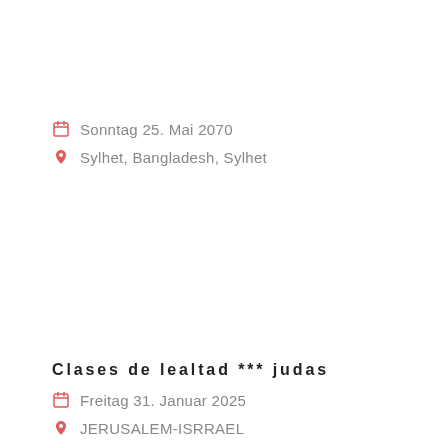Sonntag 25. Mai 2070
Sylhet, Bangladesh, Sylhet
Clases de lealtad *** judas
Freitag 31. Januar 2025
JERUSALEM-ISRRAEL